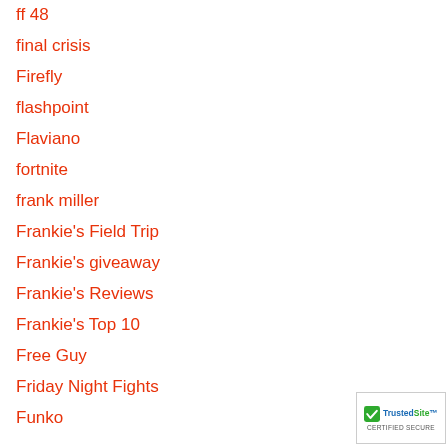ff 48
final crisis
Firefly
flashpoint
Flaviano
fortnite
frank miller
Frankie's Field Trip
Frankie's giveaway
Frankie's Reviews
Frankie's Top 10
Free Guy
Friday Night Fights
Funko
[Figure (logo): TrustedSite Certified Secure badge]